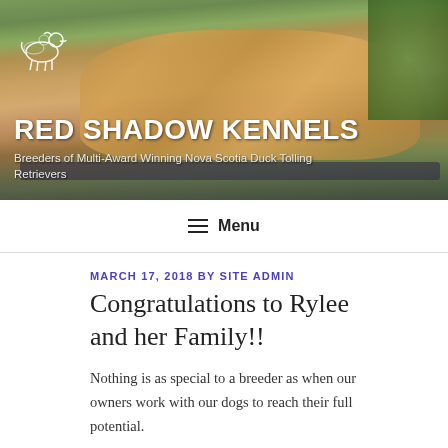[Figure (photo): Header banner photo of golden retriever puppies sitting on an ornate metal bench outdoors, with a white outline dog logo in the top-left corner. Overlaid with site title and tagline text.]
RED SHADOW KENNELS
Breeders of Multi-Award Winning Nova Scotia Duck Tolling Retrievers
≡ Menu
MARCH 17, 2018 BY SITE ADMIN
Congratulations to Rylee and her Family!!
Nothing is as special to a breeder as when our owners work with our dogs to reach their full potential.